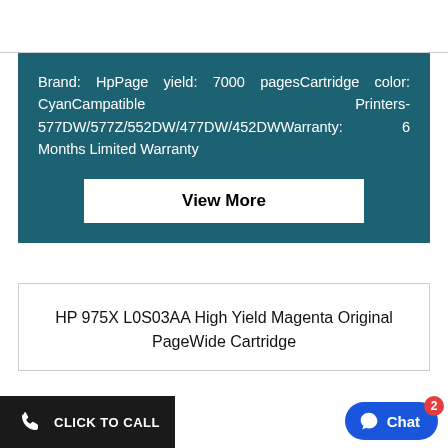Brand: HpPage yield: 7000 pagesCartridge color: CyanCampatible Printers-577DW/577Z/552DW/477DW/452DWWarranty: 6 Months Limited Warranty
View More
HP 975X L0S03AA High Yield Magenta Original PageWide Cartridge
CLICK TO CALL
Chat